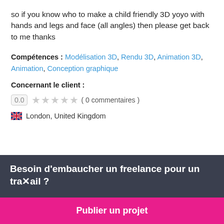so if you know who to make a child friendly 3D yoyo with hands and legs and face (all angles) then please get back to me thanks
Compétences : Modélisation 3D, Rendu 3D, Animation 3D, Animation, Conception graphique
Concernant le client :
0.0 ★★★★★ ( 0 commentaires )
🇬🇧 London, United Kingdom
Besoin d'embaucher un freelance pour un travail ?
Publier un projet